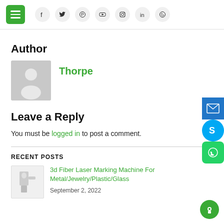Navigation header with menu button and social icons (Facebook, Twitter, Pinterest, YouTube, Instagram, LinkedIn, WhatsApp)
Author
Thorpe
Leave a Reply
You must be logged in to post a comment.
RECENT POSTS
3d Fiber Laser Marking Machine For Metal/Jewelry/Plastic/Glass
September 2, 2022